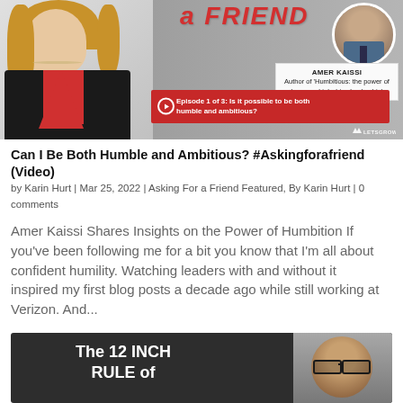[Figure (photo): Banner image for 'Asking for a Friend' podcast/video series featuring a woman in a black blazer on the left, and Amer Kaissi in a circle on the right, with a red episode bar reading 'Episode 1 of 3: Is it possible to be both humble and ambitious?' and the Let's Grow Leaders logo.]
Can I Be Both Humble and Ambitious? #Askingforafriend (Video)
by Karin Hurt | Mar 25, 2022 | Asking For a Friend Featured, By Karin Hurt | 0 comments
Amer Kaissi Shares Insights on the Power of Humbition If you've been following me for a bit you know that I'm all about confident humility. Watching leaders with and without it inspired my first blog posts a decade ago while still working at Verizon. And...
[Figure (photo): Partial bottom banner with dark background showing 'The 12 INCH RULE of' text in white bold font and a partial photo of a bald man with glasses on the right side.]